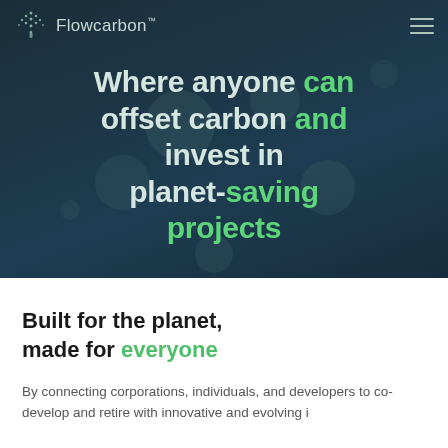[Figure (screenshot): Flowcarbon website hero section with dark teal/navy gradient background, bokeh light effects, logo with tree-dot icon in top left, hamburger menu in top right, and large centered headline text reading 'Where anyone can offset carbon and invest in planet-saving projects' with alternating white/gray and green colored words.]
Built for the planet, made for everyone
By connecting corporations, individuals, and developers to co-develop and retire with innovative and evolving i